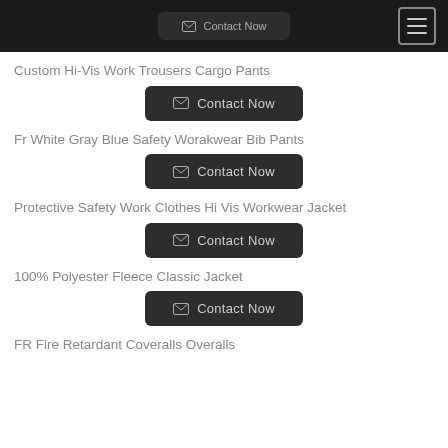Contact Now
Custom Hi-Vis Work Trousers Cargo Pants
Contact Now
Fr White Gray Blue Safety Worakwear Bib Pants
Contact Now
Protective Safety Work Clothes Hi Vis Workwear Jacket
Contact Now
100% Polyester Fleece Classic Jacket
Contact Now
FR Fire Retardant Coveralls Overalls